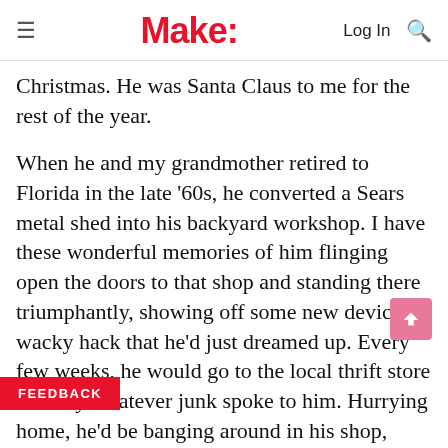Make:
Christmas. He was Santa Claus to me for the rest of the year.
When he and my grandmother retired to Florida in the late ’60s, he converted a Sears metal shed into his backyard workshop. I have these wonderful memories of him flinging open the doors to that shop and standing there triumphantly, showing off some new device or wacky hack that he’d just dreamed up. Every few weeks, he would go to the local thrift store and buy whatever junk spoke to him. Hurrying home, he’d be banging around in his shop, strange sounds and his distinctive laugh (and his equally distinctive [swearing]) echoing from within. Finally, he’d emerge, fresh from some latest “Eureka!” moment.